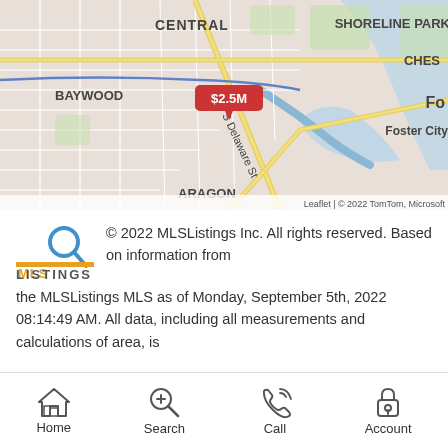[Figure (map): Street map showing San Mateo area with neighborhoods CENTRAL, SHORELINE PARK, BAYWOOD, PARKSIDE, ARAGON, Foster City, CHES (partial), Fo (partial). S Delaware St visible. A red price marker showing $2.5M. Map attribution: Leaflet | © 2022 TomTom, Microsoft.]
© 2022 MLSListings Inc. All rights reserved. Based on information from the MLSListings MLS as of Monday, September 5th, 2022 08:14:49 AM. All data, including all measurements and calculations of area, is
Home   Search   Call   Account